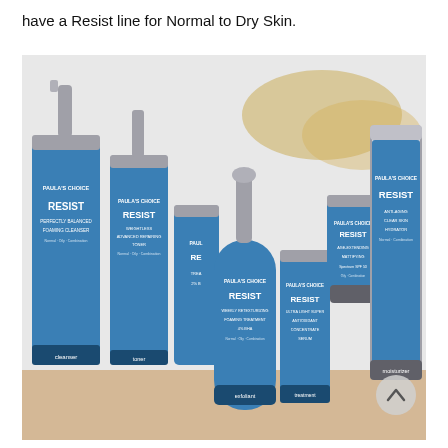have a Resist line for Normal to Dry Skin.
[Figure (photo): A collection of Paula's Choice RESIST skincare products in blue and silver packaging arranged on a shelf, including a cleanser, toner, exfoliant, treatment serum, moisturizer, and hydrator products.]